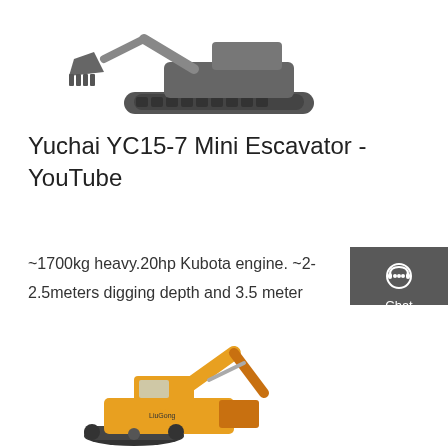[Figure (photo): A mini excavator (grey/dark colored) shown from the side with bucket teeth visible, top portion of page]
Yuchai YC15-7 Mini Escavator - YouTube
~1700kg heavy.20hp Kubota engine. ~2-2.5meters digging depth and 3.5 meter reach.Quick walk through of it and what is going do be done with it.This is exactl
[Figure (infographic): Right sidebar with dark grey background showing three icons: Chat (headset icon), Email (envelope icon), Contact (speech bubble icon) with red dividers]
Get a quote
[Figure (photo): A yellow LiuGong excavator shown from the side, partially visible at bottom of page]